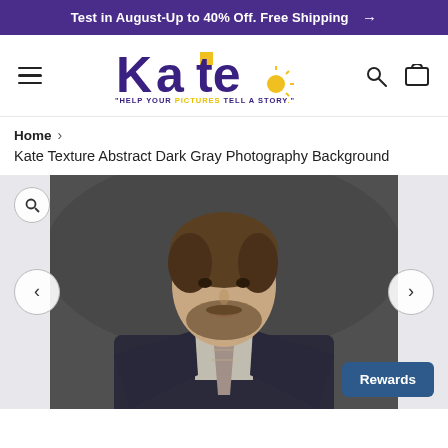Test in August-Up to 40% Off. Free Shipping →
[Figure (logo): Kate backdrop store logo with 'HELP YOUR PICTURES TELL A STORY' tagline, navigation icons (hamburger menu, search, cart)]
Home ›
Kate Texture Abstract Dark Gray Photography Background
[Figure (photo): Professional portrait photo of a man in a dark suit and tie against a dark gray textured photography backdrop. Gallery viewer with zoom icon, left/right navigation arrows, and Rewards button.]